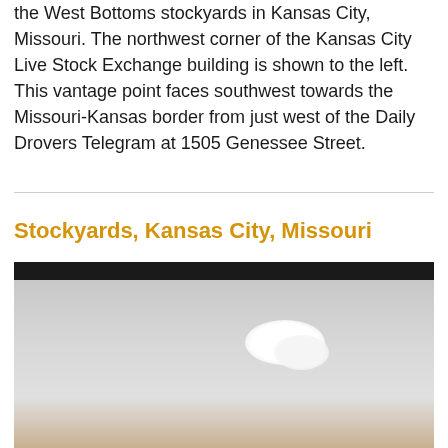the West Bottoms stockyards in Kansas City, Missouri. The northwest corner of the Kansas City Live Stock Exchange building is shown to the left. This vantage point faces southwest towards the Missouri-Kansas border from just west of the Daily Drovers Telegram at 1505 Genessee Street.
Stockyards, Kansas City, Missouri
[Figure (photo): Historical black and white photograph of Stockyards, Kansas City, Missouri. The image shows an overcast or light sky with clouds, taken from an elevated vantage point.]